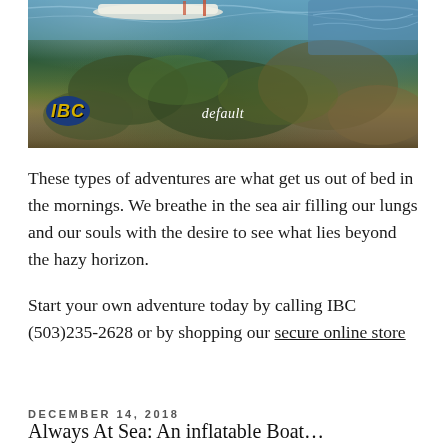[Figure (photo): Aerial/close-up photo of a rocky shoreline with clear blue-green water and a white boat visible in the upper left. An IBC logo (yellow letters on blue oval) appears in the lower left, and the word 'default' appears in italic white text in the center-bottom of the image.]
These types of adventures are what get us out of bed in the mornings. We breathe in the sea air filling our lungs and our souls with the desire to see what lies beyond the hazy horizon.
Start your own adventure today by calling IBC (503)235-2628 or by shopping our secure online store
DECEMBER 14, 2018